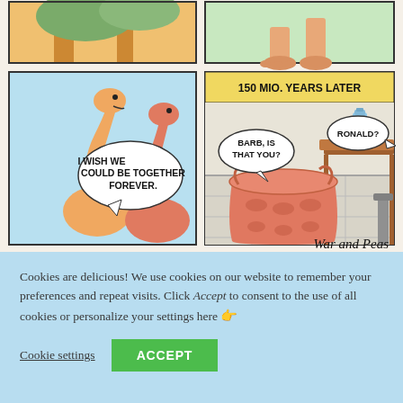[Figure (illustration): A four-panel comic strip by War and Peas. Top two panels (partially visible): left panel shows orange trees or nature scene; right panel shows a dinosaur's feet/legs on green background. Bottom-left panel: two long-necked dinosaurs (peach/salmon colored) against a light blue sky. The left dinosaur has a speech bubble saying 'I WISH WE COULD BE TOGETHER FOREVER.' Bottom-right panel: A yellow header bar reads '150 MIO. YEARS LATER'. Below it, a coral/pink laundry basket sits on a tiled floor next to a wooden table with a blue water bottle. A speech bubble from the basket says 'BARB, IS THAT YOU?' and another bubble from off-screen says 'RONALD?' Signature 'War and Peas' in cursive at bottom right.]
Cookies are delicious! We use cookies on our website to remember your preferences and repeat visits. Click Accept to consent to the use of all cookies or personalize your settings here 👉
Cookie settings   ACCEPT